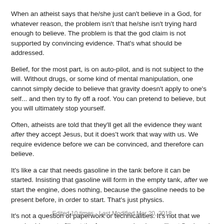When an atheist says that he/she just can't believe in a God, for whatever reason, the problem isn't that he/she isn't trying hard enough to believe. The problem is that the god claim is not supported by convincing evidence. That's what should be addressed.
Belief, for the most part, is on auto-pilot, and is not subject to the will. Without drugs, or some kind of mental manipulation, one cannot simply decide to believe that gravity doesn't apply to one's self... and then try to fly off a roof. You can pretend to believe, but you will ultimately stop yourself.
Often, atheists are told that they'll get all the evidence they want after they accept Jesus, but it does't work that way with us. We require evidence before we can be convinced, and therefore can believe.
It's like a car that needs gasoline in the tank before it can be started. Insisting that gasoline will form in the empty tank, after we start the engine, does nothing, because the gasoline needs to be present before, in order to start. That's just physics.
It's not a question of paperwork or technicalities. It's not that we need evidence to fill out the forms properly, else we'll get fired, and you're asking us to waive that for you just this once. Without sufficient evidence, we are simply incapable of being convinced, and thus believe. We couldn't do it even if we wanted to.
Edited 10 times - Last Modified Mar 20, 2018